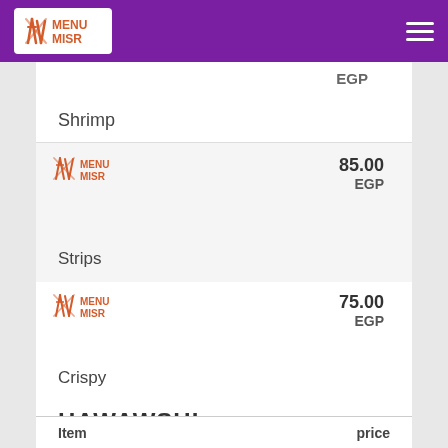MENU MISR
EGP
Shrimp
[Figure (logo): Menu Misr logo with crossed utensils icon]
85.00 EGP
Strips
[Figure (logo): Menu Misr logo with crossed utensils icon]
75.00 EGP
Crispy
HAWAWSHI
| Item | price |
| --- | --- |